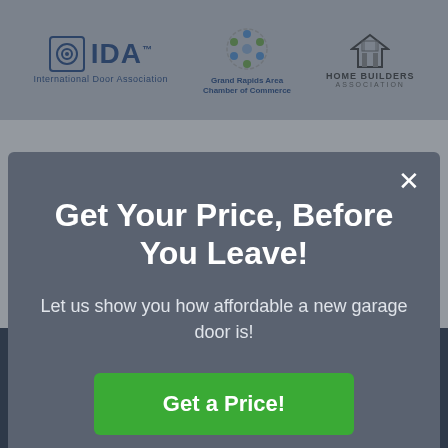[Figure (logo): Header bar with three logos: IDA (International Door Association), Grand Rapids Area Chamber of Commerce, Home Builders Association]
Get Your Price, Before You Leave!
Let us show you how affordable a new garage door is!
Get a Price!
@ Contact us by Email
616-452-4704